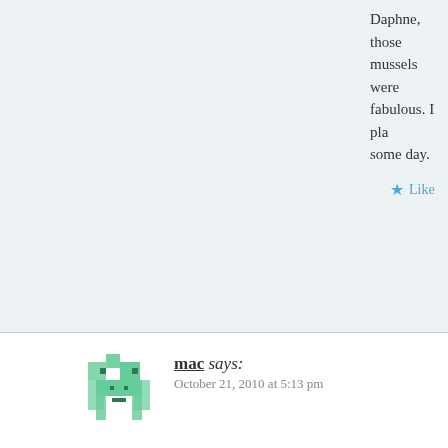Daphne, those mussels were fabulous. I pla some day.
★ Like
Reply
mac says: October 21, 2010 at 5:13 pm
The linguine looks good, where did you buy the aquafa to OC next month, maybe I can cook some for din din.
★ Like
Reply
Lou Murray, Ph.D. says: October 26, 2010 at 10:13 am